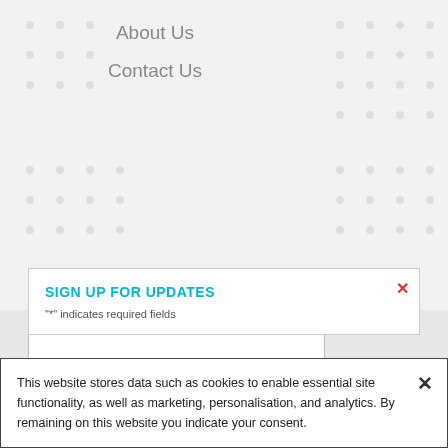About Us
Contact Us
SIGN UP FOR UPDATES
"*" indicates required fields
[Figure (screenshot): Website popup with Welcome message, text 'Are you ready to chat with your media sales consultant?' and a red Yes! button]
This website stores data such as cookies to enable essential site functionality, as well as marketing, personalisation, and analytics. By remaining on this website you indicate your consent.